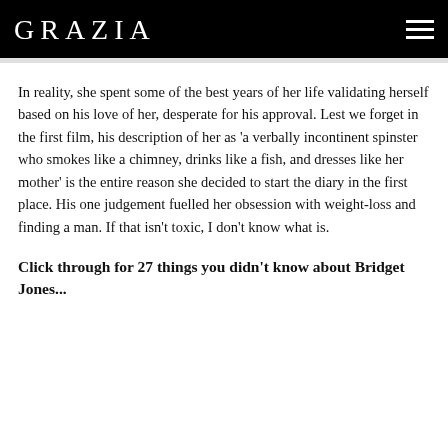GRAZIA
In reality, she spent some of the best years of her life validating herself based on his love of her, desperate for his approval. Lest we forget in the first film, his description of her as 'a verbally incontinent spinster who smokes like a chimney, drinks like a fish, and dresses like her mother' is the entire reason she decided to start the diary in the first place. His one judgement fuelled her obsession with weight-loss and finding a man. If that isn't toxic, I don't know what is.
Click through for 27 things you didn't know about Bridget Jones...